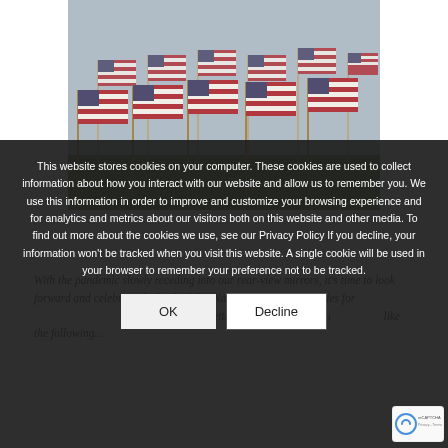[Figure (photo): Rows of small American flags planted in the ground, photographed from a low angle against a bright sky]
With the pandemic slowly receding into our rear-view mirrors, it's time to look forward and celebrate the birth of this Nation and the possibilities for better days ahead! Better days that don't include like the following...
This website stores cookies on your computer. These cookies are used to collect information about how you interact with our website and allow us to remember you. We use this information in order to improve and customize your browsing experience and for analytics and metrics about our visitors both on this website and other media. To find out more about the cookies we use, see our Privacy Policy If you decline, your information won't be tracked when you visit this website. A single cookie will be used in your browser to remember your preference not to be tracked.
[Figure (other): reCAPTCHA badge in the bottom right corner]